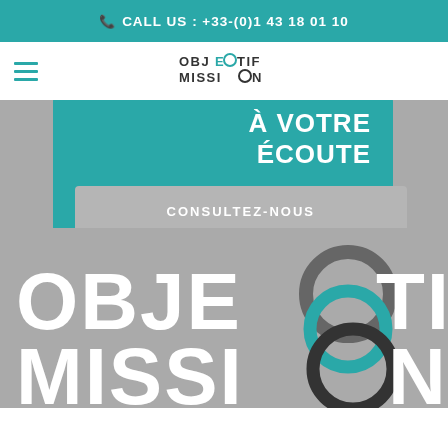CALL US : +33-(0)1 43 18 01 10
[Figure (logo): Objectif Mission logo with teal C/O rings]
À VOTRE ÉCOUTE
CONSULTEZ-NOUS
[Figure (logo): Large Objectif Mission logo on gray background]